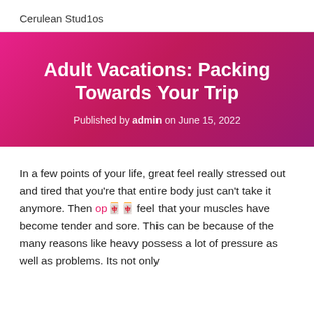Cerulean Stud1os
Adult Vacations: Packing Towards Your Trip
Published by admin on June 15, 2022
In a few points of your life, great feel really stressed out and tired that you're that entire body just can't take it anymore. Then op🀄🀄 feel that your muscles have become tender and sore. This can be because of the many reasons like heavy possess a lot of pressure as well as problems. Its not only